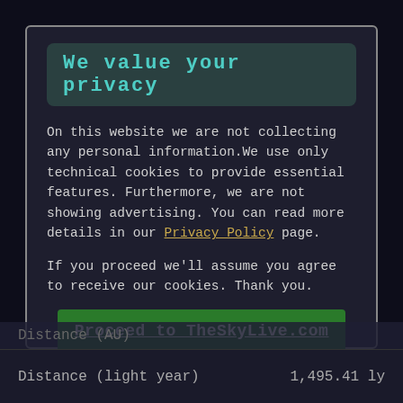We value your privacy
On this website we are not collecting any personal information.We use only technical cookies to provide essential features. Furthermore, we are not showing advertising. You can read more details in our Privacy Policy page.
If you proceed we'll assume you agree to receive our cookies. Thank you.
Proceed to TheSkyLive.com
Distance (light year)  1,495.41 ly